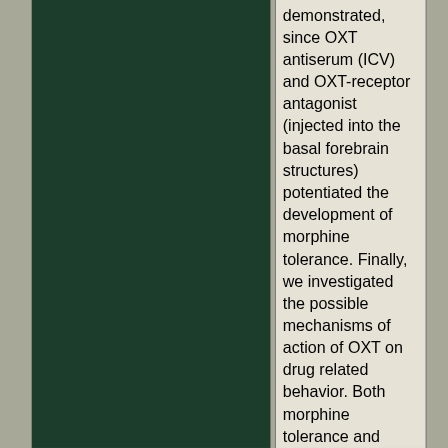[Figure (photo): Dark green/teal colored image panel occupying the left two-thirds of the page]
demonstrated, since OXT antiserum (ICV) and OXT-receptor antagonist (injected into the basal forebrain structures) potentiated the development of morphine tolerance. Finally, we investigated the possible mechanisms of action of OXT on drug related behavior. Both morphine tolerance and dependence, and cocaine administration, increased dopamine utilization in the mesencephalon and in the nucleus accumbens, particularly OXT...